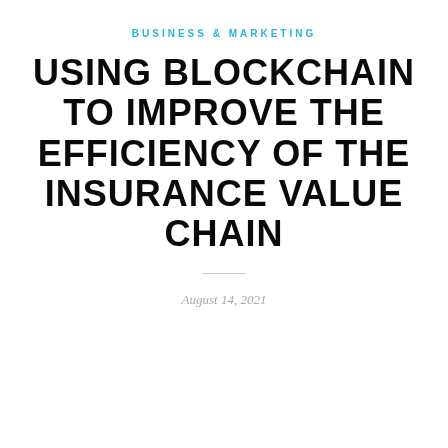BUSINESS & MARKETING
USING BLOCKCHAIN TO IMPROVE THE EFFICIENCY OF THE INSURANCE VALUE CHAIN
August 14, 2021